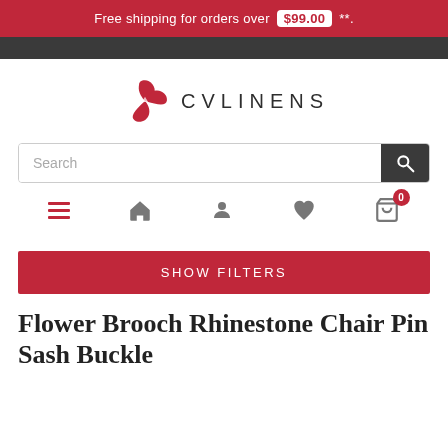Free shipping for orders over $99.00 **.
[Figure (logo): CV Linens logo with red stylized flower/pinwheel icon and text CVLINENS]
[Figure (screenshot): Search bar with search button]
[Figure (infographic): Navigation icons row: hamburger menu, home, user, heart/wishlist, shopping cart with 0 badge]
SHOW FILTERS
Flower Brooch Rhinestone Chair Pin Sash Buckle